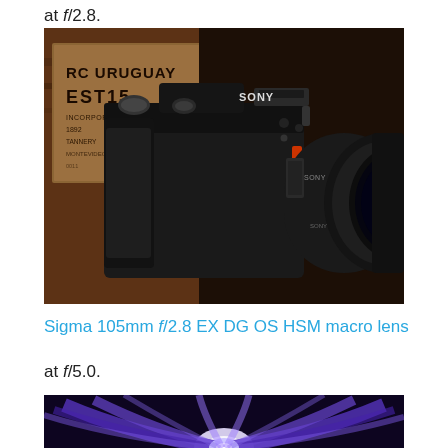at f/2.8.
[Figure (photo): Sony mirrorless camera with a large telephoto/macro lens attached, dark rustic wooden background with signage]
Sigma 105mm f/2.8 EX DG OS HSM macro lens
at f/5.0.
[Figure (photo): Close-up macro photograph of a blue/purple flower with petals radiating from center, dark background]